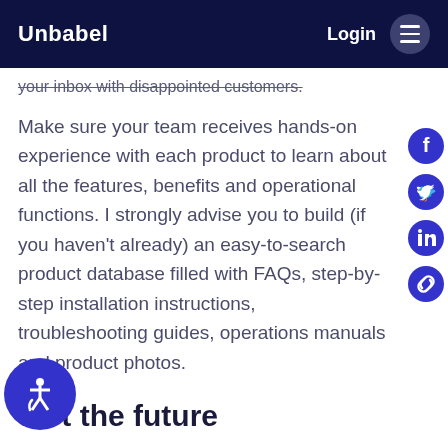Unbabel  Login
your inbox with disappointed customers.
Make sure your team receives hands-on experience with each product to learn about all the features, benefits and operational functions. I strongly advise you to build (if you haven't already) an easy-to-search product database filled with FAQs, step-by-step installation instructions, troubleshooting guides, operations manuals and product photos.
dict the future
Get your Sherlock Holmes mode on.